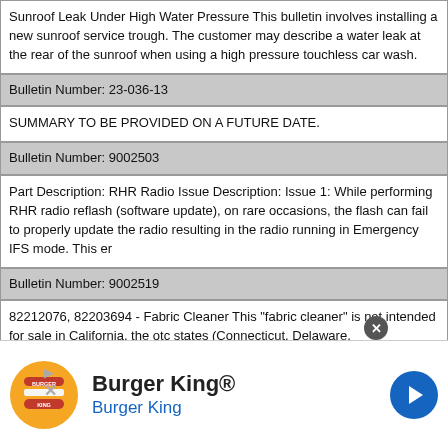Sunroof Leak Under High Water Pressure This bulletin involves installing a new sunroof service trough. The customer may describe a water leak at the rear of the sunroof when using a high pressure touchless car wash.
Bulletin Number: 23-036-13
SUMMARY TO BE PROVIDED ON A FUTURE DATE.
Bulletin Number: 9002503
Part Description: RHR Radio Issue Description: Issue 1: While performing RHR radio reflash (software update), on rare occasions, the flash can fail to properly update the radio resulting in the radio running in Emergency IFS mode. This er
Bulletin Number: 9002519
82212076, 82203694 - Fabric Cleaner This "fabric cleaner" is not intended for sale in California, the otc states (Connecticut, Delaware, Massachusetts, Maine, New Hampshire, New Jersey, New York, Pennsylvania, Virginia, and Washington dc
Bulletin Number: 9003681
Restraints Information Sheet (I-Sheet) has been added to Star Parts. Print I-Sheet for technician use.
Bulletin Number: 9003687